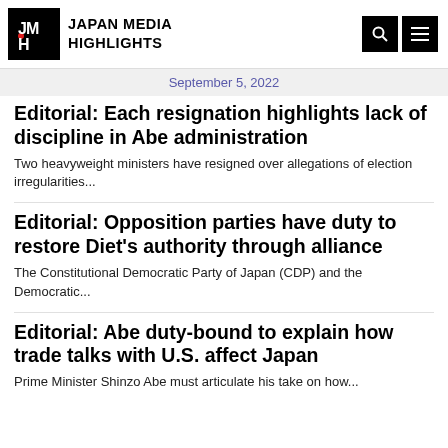JMH JAPAN MEDIA HIGHLIGHTS
September 5, 2022
Editorial: Each resignation highlights lack of discipline in Abe administration
Two heavyweight ministers have resigned over allegations of election irregularities...
Editorial: Opposition parties have duty to restore Diet's authority through alliance
The Constitutional Democratic Party of Japan (CDP) and the Democratic...
Editorial: Abe duty-bound to explain how trade talks with U.S. affect Japan
Prime Minister Shinzo Abe must articulate his take on how...